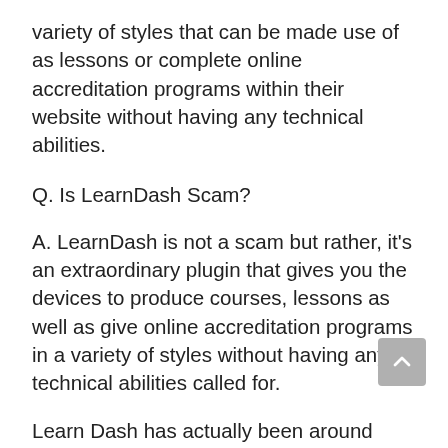variety of styles that can be made use of as lessons or complete online accreditation programs within their website without having any technical abilities.
Q. Is LearnDash Scam?
A. LearnDash is not a scam but rather, it's an extraordinary plugin that gives you the devices to produce courses, lessons as well as give online accreditation programs in a variety of styles without having any technical abilities called for.
Learn Dash has actually been around since 2010 and also presently has more